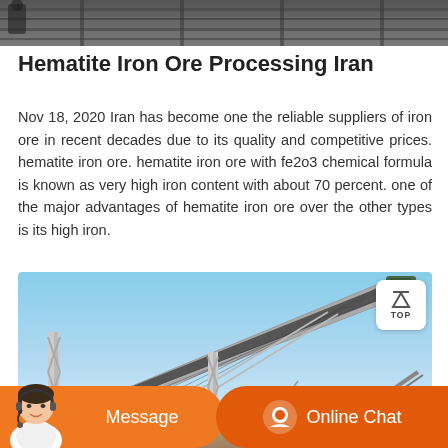[Figure (photo): Top partial image of industrial conveyor or rail equipment, appears cropped at top of page]
Hematite Iron Ore Processing Iran
Nov 18, 2020 Iran has become one the reliable suppliers of iron ore in recent decades due to its quality and competitive prices. hematite iron ore. hematite iron ore with fe2o3 chemical formula is known as very high iron content with about 70 percent. one of the major advantages of hematite iron ore over the other types is its high iron.
[Figure (photo): Photo of industrial conveyor belt system at a mining or processing facility, showing large inclined conveyor structure with metal framework against a blue sky]
[Figure (other): Chat bar with Message button and Online Chat button, with customer service avatar on left]